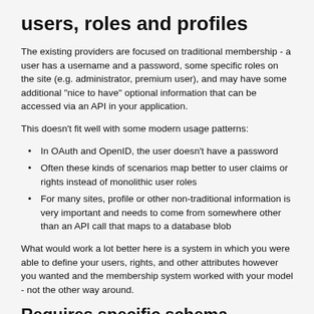users, roles and profiles
The existing providers are focused on traditional membership - a user has a username and a password, some specific roles on the site (e.g. administrator, premium user), and may have some additional "nice to have" optional information that can be accessed via an API in your application.
This doesn't fit well with some modern usage patterns:
In OAuth and OpenID, the user doesn't have a password
Often these kinds of scenarios map better to user claims or rights instead of monolithic user roles
For many sites, profile or other non-traditional information is very important and needs to come from somewhere other than an API call that maps to a database blob
What would work a lot better here is a system in which you were able to define your users, rights, and other attributes however you wanted and the membership system worked with your model - not the other way around.
Requires specific schema, overflow in blob columns